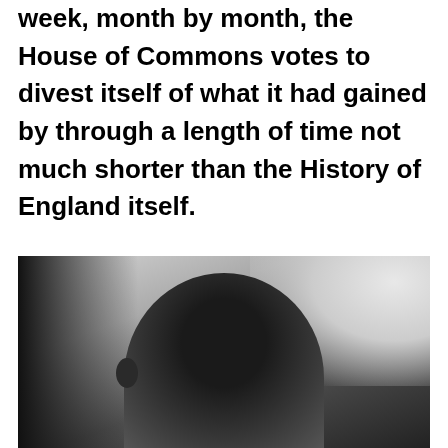imprisoning by its own hand. Week by week, month by month, the House of Commons votes to divest itself of what it had gained by through a length of time not much shorter than the History of England itself.
[Figure (photo): Black and white photograph showing the top of a person's head with dark hair, photographed from above or at an angle, with light and shadow contrast.]